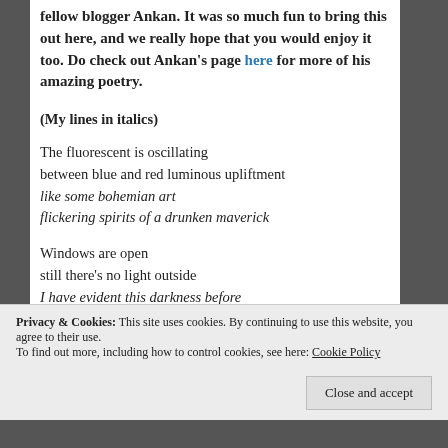fellow blogger Ankan. It was so much fun to bring this out here, and we really hope that you would enjoy it too. Do check out Ankan's page here for more of his amazing poetry.
(My lines in italics)
The fluorescent is oscillating
between blue and red luminous upliftment
like some bohemian art
flickering spirits of a drunken maverick
Windows are open
still there's no light outside
I have evident this darkness before
hollow and impenetrable
Privacy & Cookies: This site uses cookies. By continuing to use this website, you agree to their use.
To find out more, including how to control cookies, see here: Cookie Policy